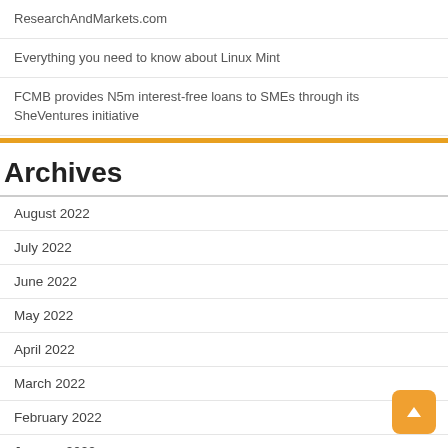ResearchAndMarkets.com
Everything you need to know about Linux Mint
FCMB provides N5m interest-free loans to SMEs through its SheVentures initiative
Archives
August 2022
July 2022
June 2022
May 2022
April 2022
March 2022
February 2022
January 2022